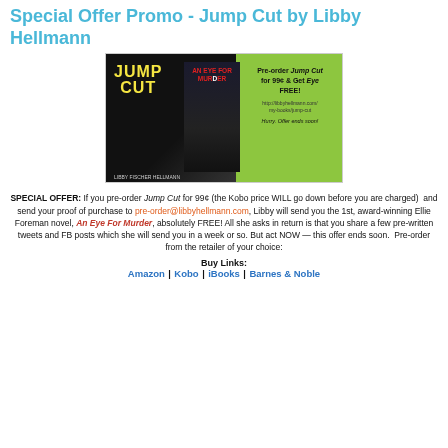Special Offer Promo - Jump Cut by Libby Hellmann
[Figure (illustration): Promotional banner showing two book covers (Jump Cut and An Eye For Murder) on a green background with offer text: Pre-order Jump Cut for 99¢ & Get Eye FREE!]
SPECIAL OFFER: If you pre-order Jump Cut for 99¢ (the Kobo price WILL go down before you are charged)  and send your proof of purchase to pre-order@libbyhellmann.com, Libby will send you the 1st, award-winning Ellie Foreman novel, An Eye For Murder, absolutely FREE! All she asks in return is that you share a few pre-written tweets and FB posts which she will send you in a week or so. But act NOW — this offer ends soon.  Pre-order from the retailer of your choice:
Buy Links:
Amazon | Kobo | iBooks | Barnes & Noble